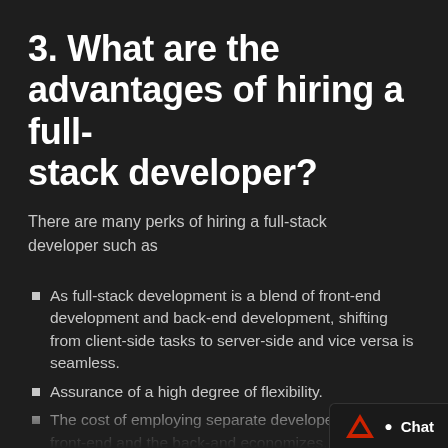3. What are the advantages of hiring a full-stack developer?
There are many perks of hiring a full-stack developer such as
As full-stack development is a blend of front-end development and back-end development, shifting from client-side tasks to server-side and vice versa is seamless.
Assurance of a high degree of flexibility.
The cost of employing separate developers for the front-end and the back-and economizes.
End-to-end project responsibility.
Delivery of the project within deadlines.
Easy maintenance and regular updates.